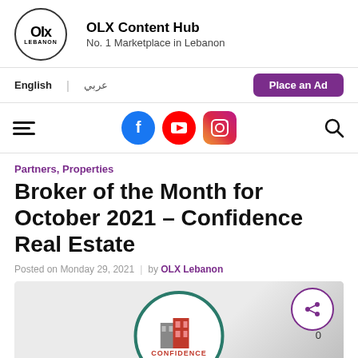OLX Content Hub - No. 1 Marketplace in Lebanon
English | عربي | Place an Ad
[Figure (screenshot): Navigation bar with hamburger menu, Facebook, YouTube, Instagram social icons, and search icon]
Partners, Properties
Broker of the Month for October 2021 – Confidence Real Estate
Posted on Monday 29, 2021 | by OLX Lebanon
[Figure (illustration): Confidence Real Estate company logo in a teal circle with red and grey building icon and CONFIDENCE text in red, with a share button overlay showing count 0]